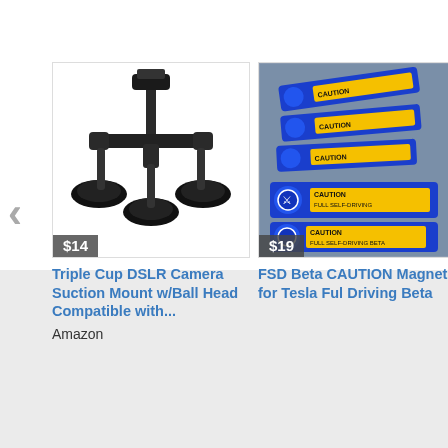[Figure (photo): Triple Cup DSLR Camera Suction Mount product image on white background, price badge $14]
Triple Cup DSLR Camera Suction Mount w/Ball Head Compatible with...
Amazon
[Figure (photo): FSD Beta CAUTION Magnet for Tesla Full Self-Driving Beta product image showing caution magnets, price badge $19]
FSD Beta CAUTION Magnet for Tesla Full Driving Beta